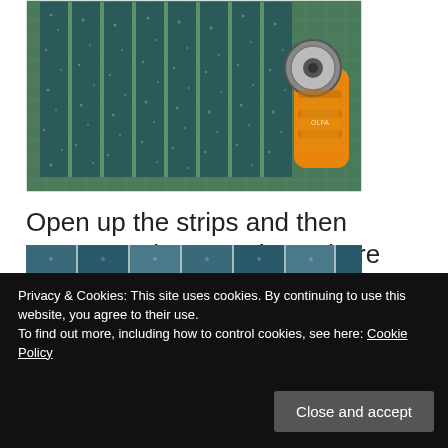[Figure (photo): Fabric strips (dark teal/floral pattern) laid out vertically on a green cutting mat, with an orange rotary cutter tool placed to the right.]
Open up the strips and then rearrange them as shown here (click to zoom in on any of the photos)
Privacy & Cookies: This site uses cookies. By continuing to use this website, you agree to their use.
To find out more, including how to control cookies, see here: Cookie Policy
[Figure (photo): Bottom strip showing small quilt block photos in teal/blue colors.]